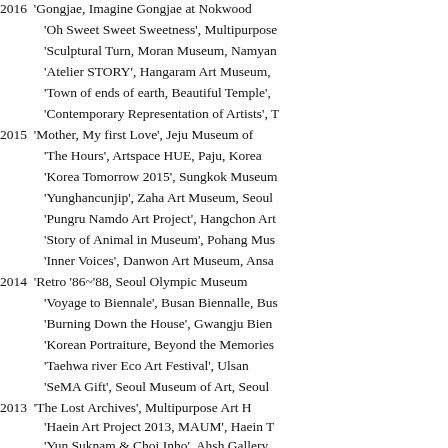2016  'Gongjae, Imagine Gongjae at Nokwoo...
'Oh Sweet Sweet Sweetness', Multipurpose...
'Sculptural Turn, Moran Museum, Namyan...
'Atelier STORY', Hangaram Art Museum,...
'Town of ends of earth, Beautiful Temple',...
'Contemporary Representation of Artists', T...
2015  'Mother, My first Love', Jeju Museum o...
'The Hours', Artspace HUE, Paju, Korea
'Korea Tomorrow 2015', Sungkok Museum...
'Yunghancunjip', Zaha Art Museum, Seoul
'Pungru Namdo Art Project', Hangchon Art...
'Story of Animal in Museum', Pohang Mus...
'Inner Voices', Danwon Art Museum, Ansa...
2014  'Retro '86~'88, Seoul Olympic Museum...
'Voyage to Biennale', Busan Biennalle, Bu...
'Burning Down the House', Gwangju Bien...
'Korean Portraiture, Beyond the Memories...
'Taehwa river Eco Art Festival', Ulsan
'SeMA Gift', Seoul Museum of Art, Seoul
2013  'The Lost Archives', Multipurpose Art H...
'Haein Art Project 2013, MAUM', Haein T...
'Yun Suknam & Choi Inho', Ahsh Gallery,...
'The 3th IPAP, SEA OF PEACE',  Incheon...
'A Soldier's Tale...60 Years of Memories...